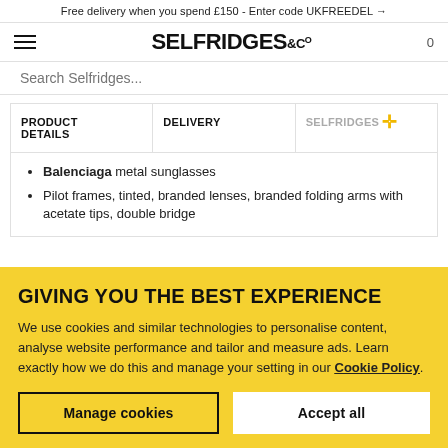Free delivery when you spend £150 - Enter code UKFREEDEL →
[Figure (logo): Selfridges & Co logo with hamburger menu and cart icon]
Search Selfridges...
| PRODUCT DETAILS | DELIVERY | SELFRIDGES+ |
| --- | --- | --- |
Balenciaga metal sunglasses
Pilot frames, tinted, branded lenses, branded folding arms with acetate tips, double bridge
GIVING YOU THE BEST EXPERIENCE
We use cookies and similar technologies to personalise content, analyse website performance and tailor and measure ads. Learn exactly how we do this and manage your setting in our Cookie Policy.
Manage cookies
Accept all